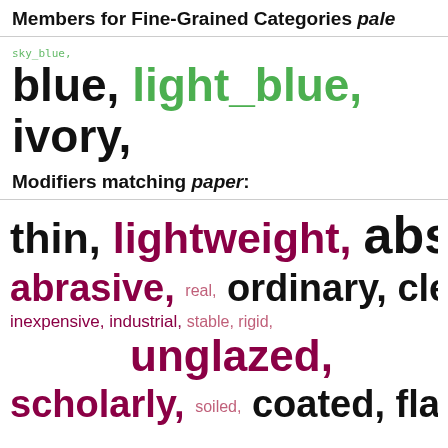Members for Fine-Grained Categories pale
sky_blue, blue, light_blue, ivory,
Modifiers matching paper:
thin, lightweight, absorbent, abrasive, real, ordinary, clean, inexpensive, industrial, stable, rigid, unglazed, scholarly, soiled, coated, flat